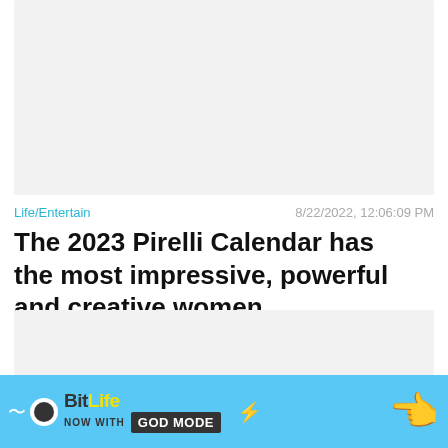[Figure (photo): Gray placeholder image area at the top of the article]
Life/Entertain
8/22/2022, 12:06:09 PM
The 2023 Pirelli Calendar has the most impressive, powerful and creative women
[Figure (photo): Gray placeholder image area below the article title]
Close X
[Figure (screenshot): BitLife advertisement banner: NOW WITH GOD MODE]